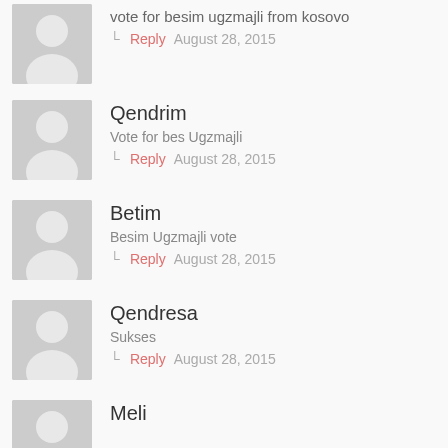vote for besim ugzmajli from kosovo
Reply   August 28, 2015
Qendrim
Vote for bes Ugzmajli
Reply   August 28, 2015
Betim
Besim Ugzmajli vote
Reply   August 28, 2015
Qendresa
Sukses
Reply   August 28, 2015
Meli